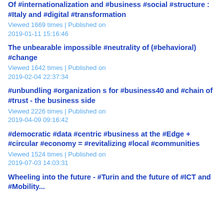Of #internationalization and #business #social #structure : #Italy and #digital #transformation
Viewed 1669 times | Published on 2019-01-11 15:16:46
The unbearable impossible #neutrality of (#behavioral) #change
Viewed 1642 times | Published on 2019-02-04 22:37:34
#unbundling #organization s for #business40 and #chain of #trust - the business side
Viewed 2226 times | Published on 2019-04-09 09:16:42
#democratic #data #centric #business at the #Edge + #circular #economy = #revitalizing #local #communities
Viewed 1524 times | Published on 2019-07-03 14:03:31
Wheeling into the future - #Turin and the future of #ICT and #Mobility...